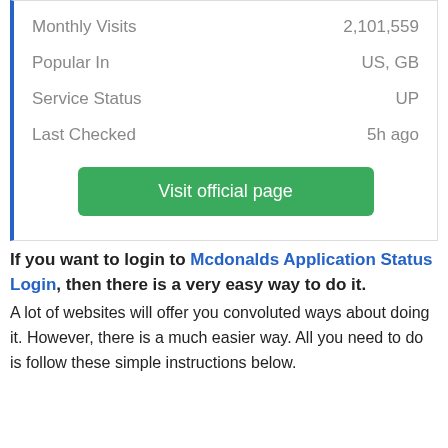|  |  |
| --- | --- |
| Monthly Visits | 2,101,559 |
| Popular In | US, GB |
| Service Status | UP |
| Last Checked | 5h ago |
Visit official page
If you want to login to Mcdonalds Application Status Login, then there is a very easy way to do it. A lot of websites will offer you convoluted ways about doing it. However, there is a much easier way. All you need to do is follow these simple instructions below.